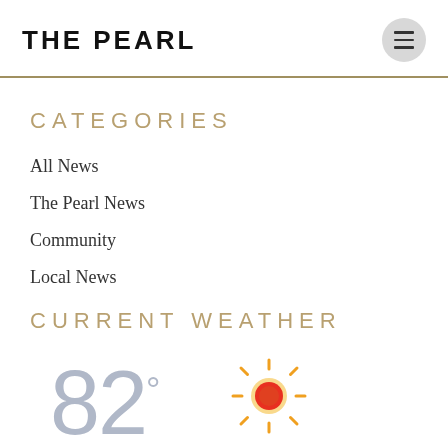THE PEARL
CATEGORIES
All News
The Pearl News
Community
Local News
CURRENT WEATHER
[Figure (infographic): Temperature reading showing 82 degrees with a sun icon indicating sunny weather]